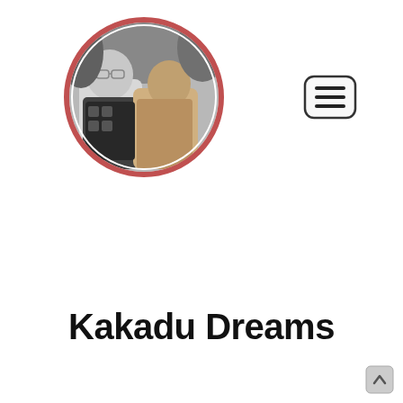[Figure (photo): Circular black and white photo of a man and woman (couple) with a red/pink circular border, positioned in the upper left area of the page]
[Figure (other): Hamburger menu icon — three horizontal lines inside a rounded rectangle border, positioned upper right]
Kakadu Dreams
[Figure (other): Scroll-to-top button — small rounded square with an upward chevron, bottom right corner]